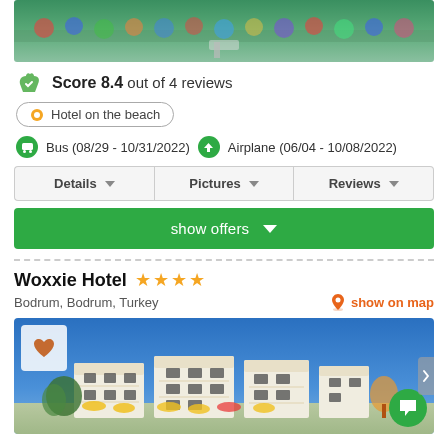[Figure (photo): Aerial photo of a beach with colorful umbrellas and sunbeds, people on the sand, blue sea water]
Score 8.4 out of 4 reviews
Hotel on the beach
Bus (08/29 - 10/31/2022)  Airplane (06/04 - 10/08/2022)
Details  Pictures  Reviews
show offers
Woxxie Hotel ★★★★
Bodrum, Bodrum, Turkey
show on map
[Figure (photo): Photo of Woxxie Hotel white building with balconies under blue sky, with yellow umbrellas and greenery in front]